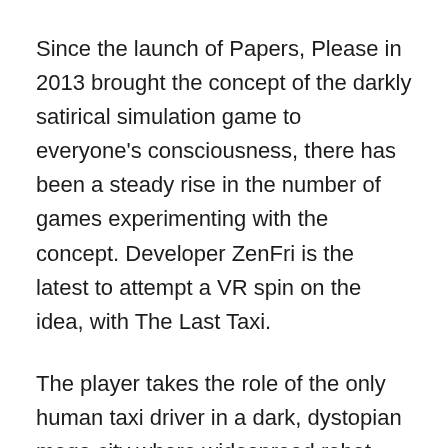Since the launch of Papers, Please in 2013 brought the concept of the darkly satirical simulation game to everyone's consciousness, there has been a steady rise in the number of games experimenting with the concept. Developer ZenFri is the latest to attempt a VR spin on the idea, with The Last Taxi.
The player takes the role of the only human taxi driver in a dark, dystopian mega city where widespread robot automation has left the remaining humans scrabbling to make ends meet. The player character buys a modified flying taxi from the slightly shady Buck, who also serves as a tutorial provider, informing the player of the various functions of the cab you